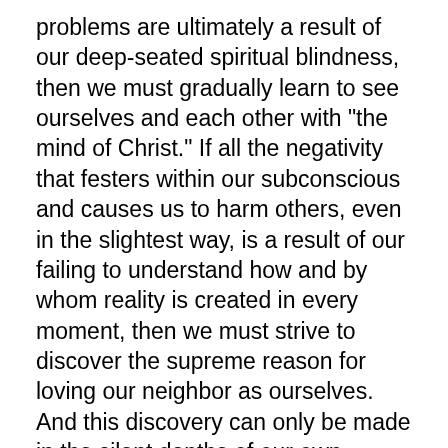problems are ultimately a result of our deep-seated spiritual blindness, then we must gradually learn to see ourselves and each other with "the mind of Christ." If all the negativity that festers within our subconscious and causes us to harm others, even in the slightest way, is a result of our failing to understand how and by whom reality is created in every moment, then we must strive to discover the supreme reason for loving our neighbor as ourselves. And this discovery can only be made in the silent depths of our own hearts.
Thus it is imperative that we learn to meditate in a steady flow in order to gain the capacity to understand something that was always within, but that remained...